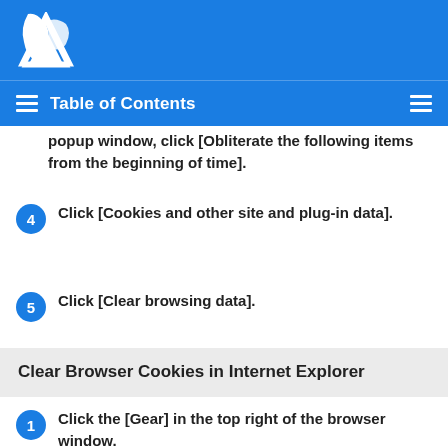Table of Contents
popup window, click [Obliterate the following items from the beginning of time].
4 Click [Cookies and other site and plug-in data].
5 Click [Clear browsing data].
Clear Browser Cookies in Internet Explorer
1 Click the [Gear] in the top right of the browser window.